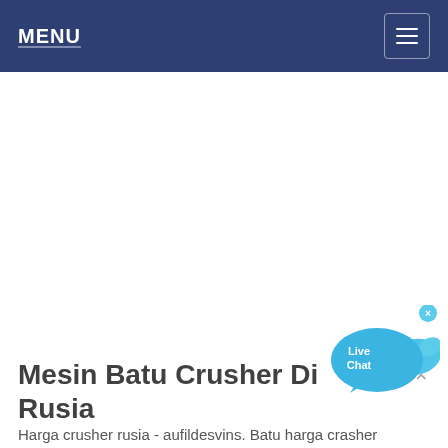MENU
[Figure (illustration): Live Chat speech bubble icon in blue with 'Live Chat' text and a small fish shape, with an X close button]
Mesin Batu Crusher Di Rusia
Harga crusher rusia - aufildesvins. Batu harga crasher